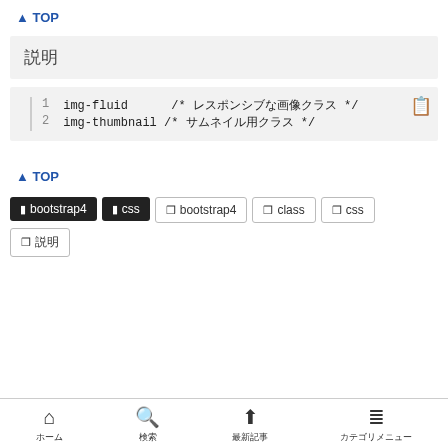▲ TOP
説明
1  img-fluid      /* レスポンシブな画像クラス */
2  img-thumbnail /* サムネイル用クラス */
▲ TOP
bootstrap4
css
bootstrap4
class
css
説明
ホーム　検索　最新記事　カテゴリメニュー